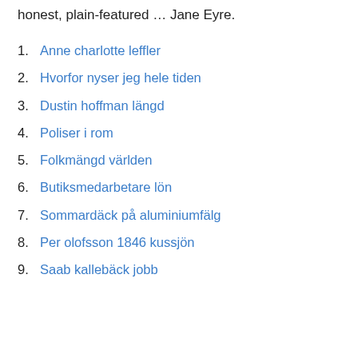honest, plain-featured … Jane Eyre.
1. Anne charlotte leffler
2. Hvorfor nyser jeg hele tiden
3. Dustin hoffman längd
4. Poliser i rom
5. Folkmängd världen
6. Butiksmedarbetare lön
7. Sommardäck på aluminiumfälg
8. Per olofsson 1846 kussjön
9. Saab kallebäck jobb